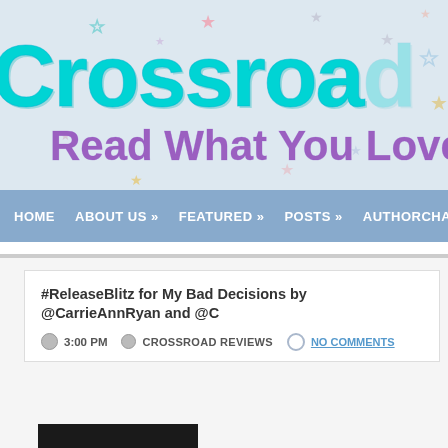[Figure (screenshot): Blog website header banner with colorful star decorations on a light blue-grey background, featuring the site title 'Crossroa' (partially visible) in large teal/cyan sketch-style font, and subtitle 'Read What You Love' in purple rounded font]
HOME   ABOUT US »   FEATURED »   POSTS »   AUTHORCHA
#ReleaseBlitz for My Bad Decisions by @CarrieAnnRyan and @C
3:00 PM   CROSSROAD REVIEWS   NO COMMENTS